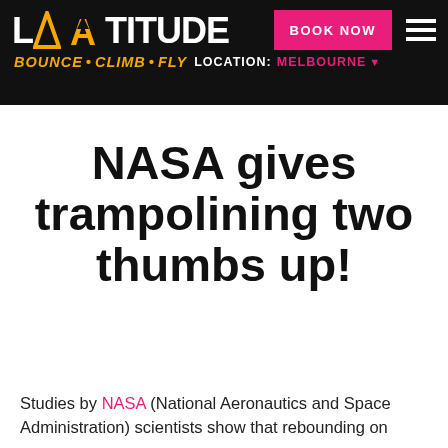LATITUDE BOUNCE·CLIMB·FLY LOCATION: MELBOURNE | BOOK NOW
NASA gives trampolining two thumbs up!
Studies by NASA (National Aeronautics and Space Administration) scientists show that rebounding on